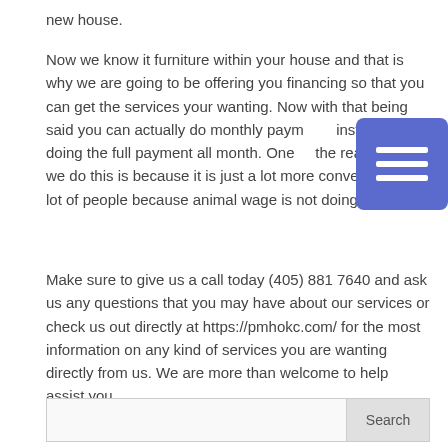new house.
Now we know it furniture within your house and that is why we are going to be offering you financing so that you can get the services your wanting. Now with that being said you can actually do monthly payments instead of doing the full payment all month. One of the reasons why we do this is because it is just a lot more convenient for a lot of people because animal wage is not doing it.
Make sure to give us a call today (405) 881 7640 and ask us any questions that you may have about our services or check us out directly at https://pmhokc.com/ for the most information on any kind of services you are wanting directly from us. We are more than welcome to help assist you.